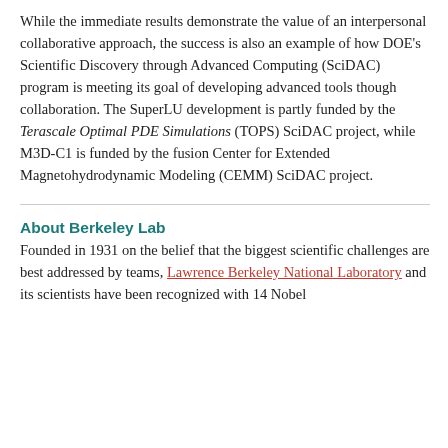While the immediate results demonstrate the value of an interpersonal collaborative approach, the success is also an example of how DOE's Scientific Discovery through Advanced Computing (SciDAC) program is meeting its goal of developing advanced tools though collaboration. The SuperLU development is partly funded by the Terascale Optimal PDE Simulations (TOPS) SciDAC project, while M3D-C1 is funded by the fusion Center for Extended Magnetohydrodynamic Modeling (CEMM) SciDAC project.
About Berkeley Lab
Founded in 1931 on the belief that the biggest scientific challenges are best addressed by teams, Lawrence Berkeley National Laboratory and its scientists have been recognized with 14 Nobel